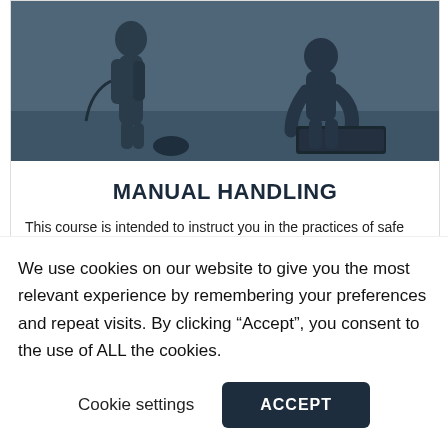[Figure (photo): Two people in a room with equipment; one appears to be handling a box or case on the floor — manual handling training scenario, shown in dark blue-grey tones]
MANUAL HANDLING
This course is intended to instruct you in the practices of safe manual handling and lifting. Patricia the company Director is an
We use cookies on our website to give you the most relevant experience by remembering your preferences and repeat visits. By clicking “Accept”, you consent to the use of ALL the cookies.
Cookie settings   ACCEPT